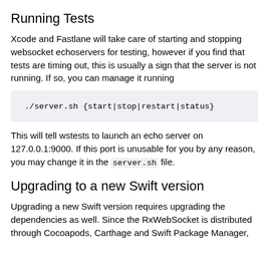Running Tests
Xcode and Fastlane will take care of starting and stopping websocket echoservers for testing, however if you find that tests are timing out, this is usually a sign that the server is not running. If so, you can manage it running
./server.sh {start|stop|restart|status}
This will tell wstests to launch an echo server on 127.0.0.1:9000. If this port is unusable for you by any reason, you may change it in the server.sh file.
Upgrading to a new Swift version
Upgrading a new Swift version requires upgrading the dependencies as well. Since the RxWebSocket is distributed through Cocoapods, Carthage and Swift Package Manager,